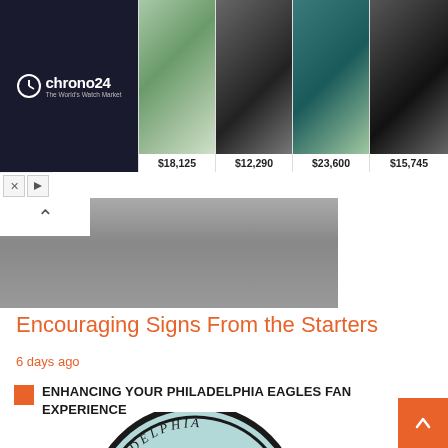[Figure (screenshot): Chrono24 advertisement banner showing luxury watches with prices: $18,125, $12,290, $23,600, $15,745]
[Figure (photo): Hero image showing partial view of people walking, cropped at legs level]
Encouraging Signs From the Starters
6 days ago
ENHANCING YOUR PHILADELPHIA EAGLES FAN EXPERIENCE
[Figure (logo): Philadelphia Eagles circular logo with teal/mint background, showing eagle silhouette and 'PHILADELPHIA' text around the border]